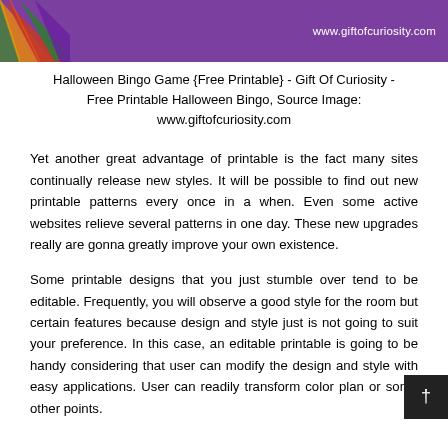[Figure (illustration): Purple banner header with decorative Halloween-colored paper fans in top-left corner and URL www.giftofcuriosity.com in white text on the right]
Halloween Bingo Game {Free Printable} - Gift Of Curiosity - Free Printable Halloween Bingo, Source Image: www.giftofcuriosity.com
Yet another great advantage of printable is the fact many sites continually release new styles. It will be possible to find out new printable patterns every once in a when. Even some active websites relieve several patterns in one day. These new upgrades really are gonna greatly improve your own existence.
Some printable designs that you just stumble over tend to be editable. Frequently, you will observe a good style for the room but certain features because design and style just is not going to suit your preference. In this case, an editable printable is going to be handy considering that user can modify the design and style with easy applications. User can readily transform color plan or some other points.